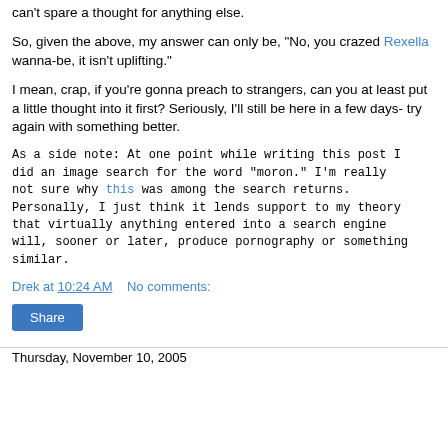can't spare a thought for anything else.
So, given the above, my answer can only be, "No, you crazed Rexella wanna-be, it isn't uplifting."
I mean, crap, if you're gonna preach to strangers, can you at least put a little thought into it first? Seriously, I'll still be here in a few days- try again with something better.
As a side note: At one point while writing this post I did an image search for the word "moron." I'm really not sure why this was among the search returns. Personally, I just think it lends support to my theory that virtually anything entered into a search engine will, sooner or later, produce pornography or something similar.
Drek at 10:24 AM    No comments:
Share
Thursday, November 10, 2005